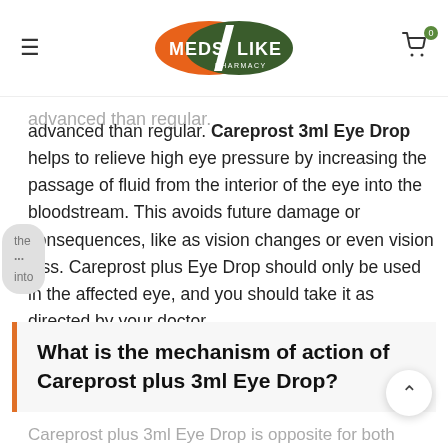MedsLike Pharmacy — hamburger menu, logo, cart (0)
advanced than regular. Careprost 3ml Eye Drop helps to relieve high eye pressure by increasing the passage of fluid from the interior of the eye into the bloodstream. This avoids future damage or consequences, like as vision changes or even vision loss. Careprost plus Eye Drop should only be used in the affected eye, and you should take it as directed by your doctor.
What is the mechanism of action of Careprost plus 3ml Eye Drop?
Careprost plus 3ml Eye Drop is opposite for both